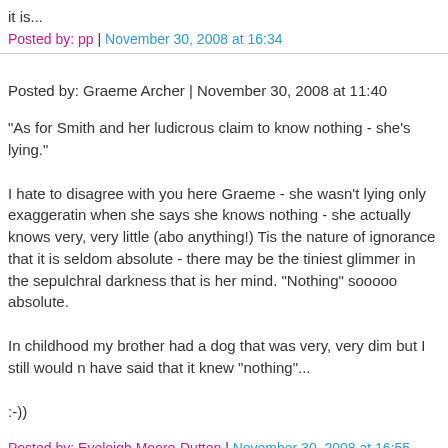it is...
Posted by: pp | November 30, 2008 at 16:34
Posted by: Graeme Archer | November 30, 2008 at 11:40
"As for Smith and her ludicrous claim to know nothing - she's lying."
I hate to disagree with you here Graeme - she wasn't lying only exaggerating when she says she knows nothing - she actually knows very, very little (about anything!) Tis the nature of ignorance that it is seldom absolute - there may be the tiniest glimmer in the sepulchral darkness that is her mind. "Nothing" sooooo absolute.
In childhood my brother had a dog that was very, very dim but I still would n have said that it knew "nothing"...
:-))
Posted by: Eveleigh Moore-Dutton | November 30, 2008 at 16:55
For the benefit of "Gloy Plopwell" and any other "excrited" LibDems here: th poll rating is in fact down from 19% on 22 Nov (ICM, Sunday Mirror) and 18 (ICM again, The Guardian). They are matginally up (by one point) from the